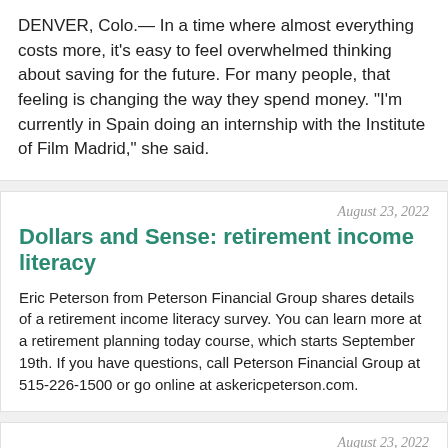DENVER, Colo.— In a time where almost everything costs more, it's easy to feel overwhelmed thinking about saving for the future. For many people, that feeling is changing the way they spend money. "I'm currently in Spain doing an internship with the Institute of Film Madrid," she said.
August 23, 2022
Dollars and Sense: retirement income literacy
Eric Peterson from Peterson Financial Group shares details of a retirement income literacy survey. You can learn more at a retirement planning today course, which starts September 19th. If you have questions, call Peterson Financial Group at 515-226-1500 or go online at askericpeterson.com.
August 23, 2022
DeSantis to cut off FRS investments to 'woke' companies